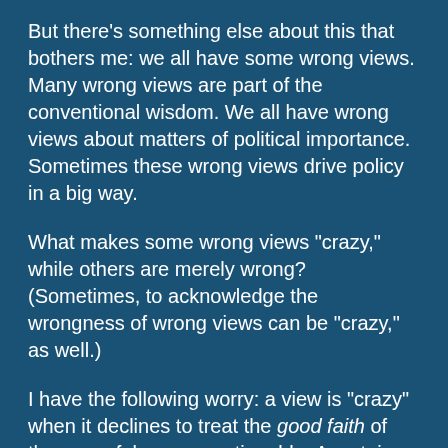But there's something else about this that bothers me: we all have some wrong views. Many wrong views are part of the conventional wisdom. We all have wrong views about matters of political importance. Sometimes these wrong views drive policy in a big way.
What makes some wrong views "crazy," while others are merely wrong? (Sometimes, to acknowledge the wrongness of wrong views can be "crazy," as well.)
I have the following worry: a view is "crazy" when it declines to treat the good faith of the powerful as unquestionable. A certain amount of disagreement is polite, but it verges into "crazy" to suppose that the leaders are driven by something other than their publicly acknowledged goals. (Since US political discourse is polarized, Left and Right respect slightly different versions of this rule.)
Why was Chomsky invoked above? Does Chomsky form his